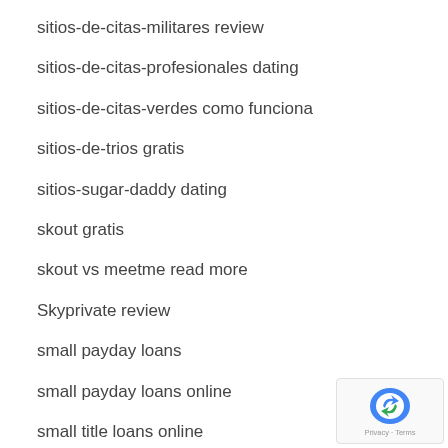sitios-de-citas-militares review
sitios-de-citas-profesionales dating
sitios-de-citas-verdes como funciona
sitios-de-trios gratis
sitios-sugar-daddy dating
skout gratis
skout vs meetme read more
Skyprivate review
small payday loans
small payday loans online
small title loans online
Smooch visitors